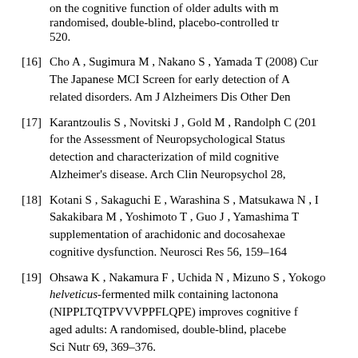on the cognitive function of older adults with mild cognitive impairment: A randomised, double-blind, placebo-controlled trial. J Alzheimers Dis 38, 507–520.
[16] Cho A , Sugimura M , Nakano S , Yamada T (2008) Current concepts and future: The Japanese MCI Screen for early detection of Alzheimer's disease and related disorders. Am J Alzheimers Dis Other Demen 23, 177–185.
[17] Karantzoulis S , Novitski J , Gold M , Randolph C (2013) The Repeatable Battery for the Assessment of Neuropsychological Status for Hearing Impaired (RBANS-H): detection and characterization of mild cognitive impairment and dementia in patients with Alzheimer's disease. Arch Clin Neuropsychol 28, 129–137.
[18] Kotani S , Sakaguchi E , Warashina S , Matsukawa N , Ishikura Y , Kiso Y , Sakakibara M , Yoshimoto T , Guo J , Yamashima T (2006) Dietary supplementation of arachidonic and docosahexaenoic acids improves cognitive dysfunction. Neurosci Res 56, 159–164.
[19] Ohsawa K , Nakamura F , Uchida N , Mizuno S , Yokogoshi H (2018) Lactobacillus helveticus-fermented milk containing lactononadecapeptide (NIPPLTQTPVVVPPFLQPE) improves cognitive function in healthy middle-aged adults: A randomised, double-blind, placebo-controlled trial. Int J Food Sci Nutr 69, 369–376.